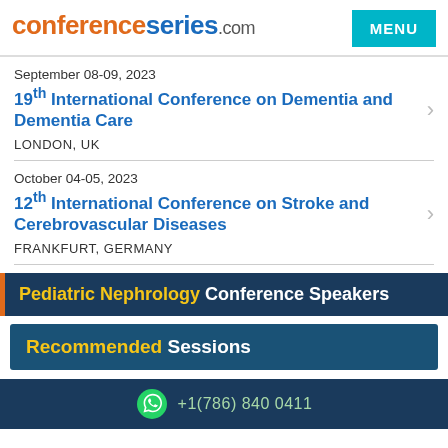conferenceseries.com
September 08-09, 2023
19th International Conference on Dementia and Dementia Care
LONDON, UK
October 04-05, 2023
12th International Conference on Stroke and Cerebrovascular Diseases
FRANKFURT, GERMANY
Pediatric Nephrology Conference Speakers
Recommended Sessions
+1(786) 840 0411